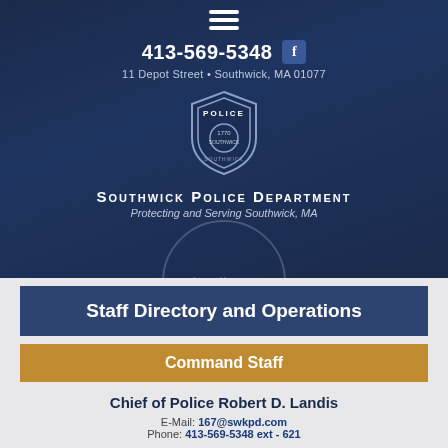[Figure (logo): Hamburger menu icon with three white horizontal lines]
413-569-5348
[Figure (logo): Facebook icon, blue square with white f]
11 Depot Street • Southwick, MA 01077
[Figure (logo): Southwick Police Department badge/shield logo]
Southwick Police Department
Protecting and Serving Southwick, MA
Staff Directory and Operations
Command Staff
Chief of Police Robert D. Landis
E-Mail: 167@swkpd.com
Phone: 413-569-5348 ext - 621
Lt. Rhett Bannish